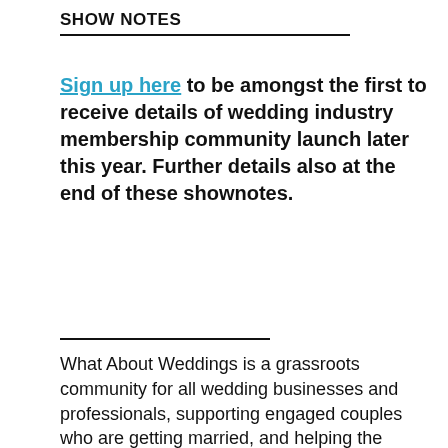SHOW NOTES
Sign up here to be amongst the first to receive details of wedding industry membership community launch later this year. Further details also at the end of these shownotes.
What About Weddings is a grassroots community for all wedding businesses and professionals, supporting engaged couples who are getting married, and helping the industry grow and evolve with fair representation at every level.